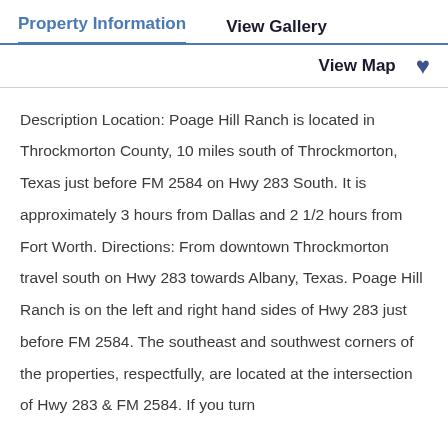Property Information | View Gallery
View Map
Description Location: Poage Hill Ranch is located in Throckmorton County, 10 miles south of Throckmorton, Texas just before FM 2584 on Hwy 283 South. It is approximately 3 hours from Dallas and 2 1/2 hours from Fort Worth. Directions: From downtown Throckmorton travel south on Hwy 283 towards Albany, Texas. Poage Hill Ranch is on the left and right hand sides of Hwy 283 just before FM 2584. The southeast and southwest corners of the properties, respectfully, are located at the intersection of Hwy 283 & FM 2584. If you turn